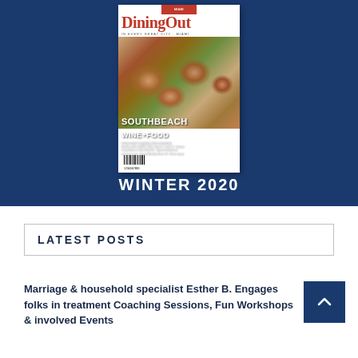[Figure (photo): Magazine cover of DiningOut Miami Winter 2020 issue, showing food dishes on a dark blue background, with text 'South Beach Wine + Food' and barcode at bottom]
WINTER 2020
LATEST POSTS
Marriage & household specialist Esther B. Engages folks in treatment Coaching Sessions, Fun Workshops & involved Events